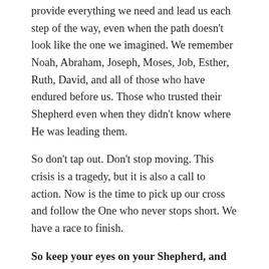provide everything we need and lead us each step of the way, even when the path doesn't look like the one we imagined. We remember Noah, Abraham, Joseph, Moses, Job, Esther, Ruth, David, and all of those who have endured before us. Those who trusted their Shepherd even when they didn't know where He was leading them.
So don't tap out. Don't stop moving. This crisis is a tragedy, but it is also a call to action. Now is the time to pick up our cross and follow the One who never stops short. We have a race to finish.
So keep your eyes on your Shepherd, and keep running.
SHARE THIS: